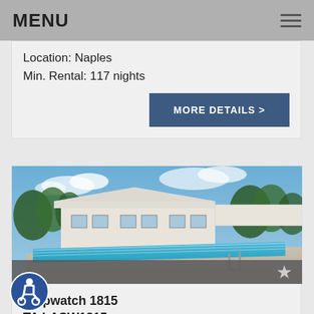MENU
Location: Naples
Min. Rental: 117 nights
MORE DETAILS >
[Figure (photo): Outdoor swimming pool with pool house building, lounge chairs, and blue sky with trees in background]
Shipwatch 1815
TA LASW1815p
Bed & Bath: 3/2.0
Sleeps: 5